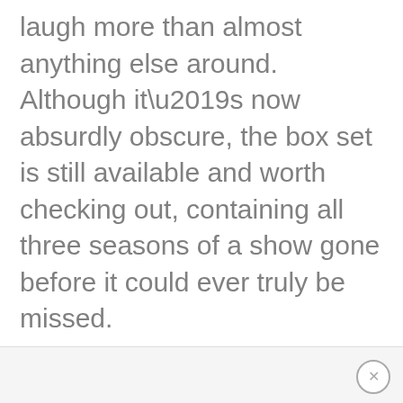laugh more than almost anything else around. Although it’s now absurdly obscure, the box set is still available and worth checking out, containing all three seasons of a show gone before it could ever truly be missed.